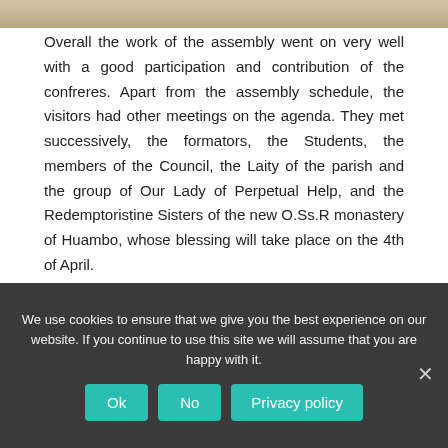[Figure (photo): Top portion of a photograph, cropped, showing an indoor scene with beige/tan tones.]
Overall the work of the assembly went on very well with a good participation and contribution of the confreres. Apart from the assembly schedule, the visitors had other meetings on the agenda. They met successively, the formators, the Students, the members of the Council, the Laity of the parish and the group of Our Lady of Perpetual Help, and the Redemptoristine Sisters of the new O.Ss.R monastery of Huambo, whose blessing will take place on the 4th of April.
[Figure (photo): Bottom portion of a photograph showing two people (men) seated indoors.]
We use cookies to ensure that we give you the best experience on our website. If you continue to use this site we will assume that you are happy with it.